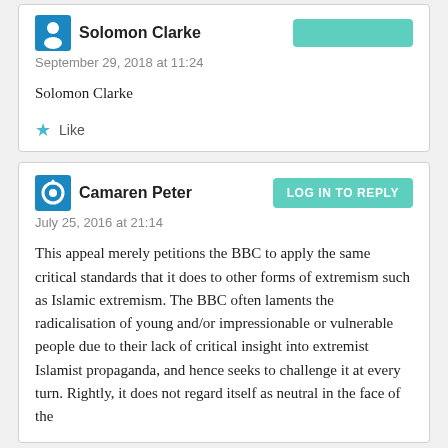Solomon Clarke
September 29, 2018 at 11:24
Solomon Clarke
Like
Camaren Peter
July 25, 2016 at 21:14
LOG IN TO REPLY
This appeal merely petitions the BBC to apply the same critical standards that it does to other forms of extremism such as Islamic extremism. The BBC often laments the radicalisation of young and/or impressionable or vulnerable people due to their lack of critical insight into extremist Islamist propaganda, and hence seeks to challenge it at every turn. Rightly, it does not regard itself as neutral in the face of the